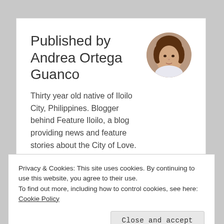Published by Andrea Ortega Guanco
Thirty year old native of Iloilo City, Philippines. Blogger behind Feature Iloilo, a blog providing news and feature stories about the City of Love. View all posts by Andrea
[Figure (photo): Circular portrait photo of Andrea Ortega Guanco, a woman with brown hair]
Privacy & Cookies: This site uses cookies. By continuing to use this website, you agree to their use.
To find out more, including how to control cookies, see here: Cookie Policy